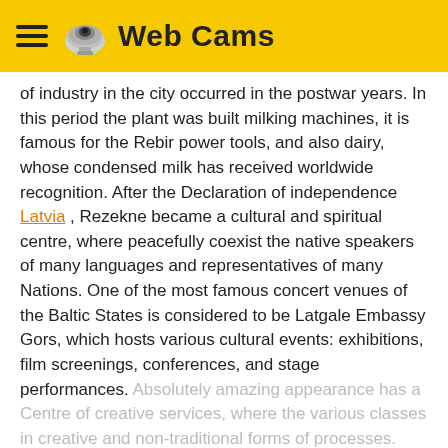Web Cams
of industry in the city occurred in the postwar years. In this period the plant was built milking machines, it is famous for the Rebir power tools, and also dairy, whose condensed milk has received worldwide recognition. After the Declaration of independence Latvia , Rezekne became a cultural and spiritual centre, where peacefully coexist the native speakers of many languages and representatives of many Nations. One of the most famous concert venues of the Baltic States is considered to be Latgale Embassy Gors, which hosts various cultural events: exhibitions, film screenings, conferences, and stage performances. Absolutely amazing appearance has a Centre of creative services, where the various classes in creative and non-traditional forms of processes. The holistic fabric of hotel
More details
Show comments (0)